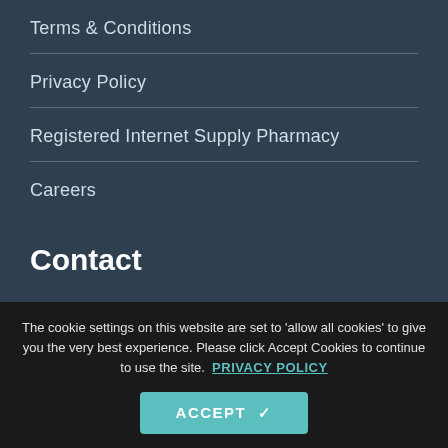Terms & Conditions
Privacy Policy
Registered Internet Supply Pharmacy
Careers
Contact
Email
info@mccartans.ie
The cookie settings on this website are set to 'allow all cookies' to give you the very best experience. Please click Accept Cookies to continue to use the site.
PRIVACY POLICY
ACCEPT ✓